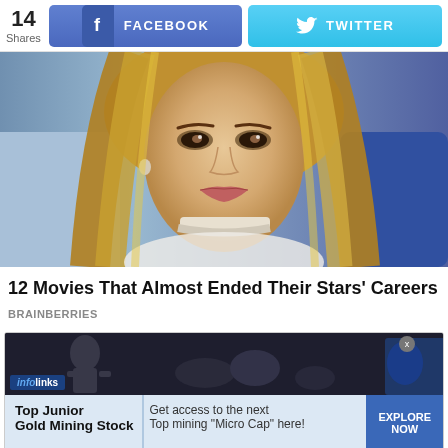14 Shares | FACEBOOK | TWITTER
[Figure (photo): Close-up photo of a blonde female celebrity wearing a white top and choker necklace, with a blue background]
12 Movies That Almost Ended Their Stars' Careers
BRAINBERRIES
[Figure (infographic): Infolinks ad banner showing Top Junior Gold Mining Stock advertisement with dark action scene image strip, text 'Get access to the next Top mining "Micro Cap" here!' and EXPLORE NOW CTA button]